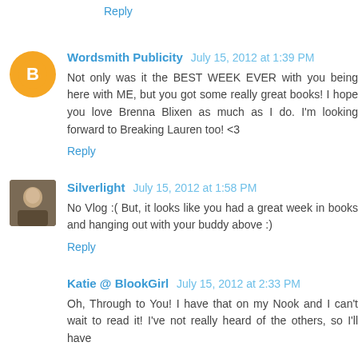Reply
Wordsmith Publicity  July 15, 2012 at 1:39 PM
Not only was it the BEST WEEK EVER with you being here with ME, but you got some really great books! I hope you love Brenna Blixen as much as I do. I'm looking forward to Breaking Lauren too! <3
Reply
Silverlight  July 15, 2012 at 1:58 PM
No Vlog :( But, it looks like you had a great week in books and hanging out with your buddy above :)
Reply
Katie @ BlookGirl  July 15, 2012 at 2:33 PM
Oh, Through to You! I have that on my Nook and I can't wait to read it! I've not really heard of the others, so I'll have